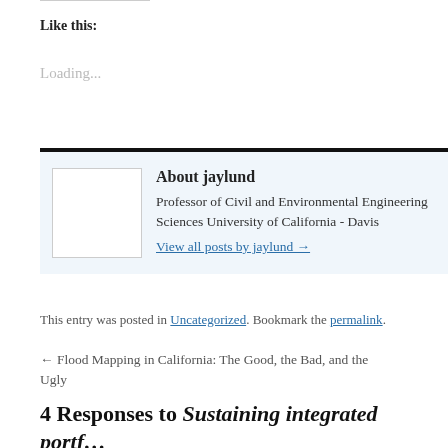Like this:
Loading...
About jaylund
Professor of Civil and Environmental Engineering Sciences University of California - Davis
View all posts by jaylund →
This entry was posted in Uncategorized. Bookmark the permalink.
← Flood Mapping in California: The Good, the Bad, and the Ugly
4 Responses to Sustaining integrated portfolios of water in California